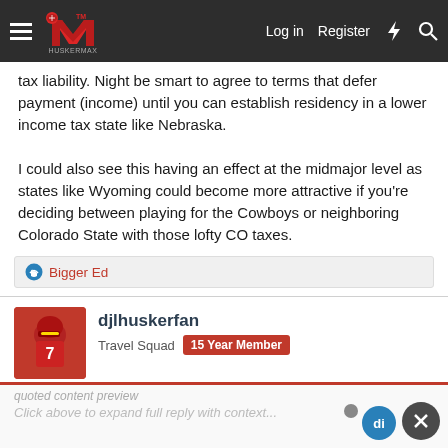HuskerMax — Log in | Register
tax liability. Night be smart to agree to terms that defer payment (income) until you can establish residency in a lower income tax state like Nebraska.

I could also see this having an effect at the midmajor level as states like Wyoming could become more attractive if you're deciding between playing for the Cowboys or neighboring Colorado State with those lofty CO taxes.
Bigger Ed
djlhuskerfan
Travel Squad  15 Year Member
Jan 14, 2022  #5